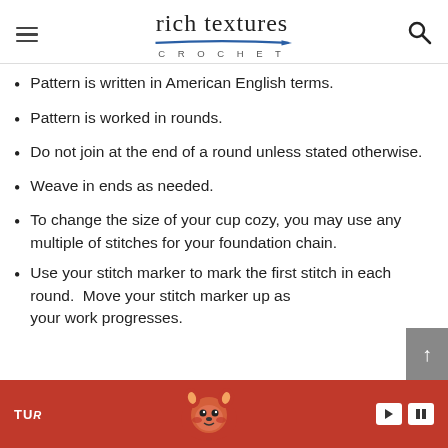rich textures CROCHET
Pattern is written in American English terms.
Pattern is worked in rounds.
Do not join at the end of a round unless stated otherwise.
Weave in ends as needed.
To change the size of your cup cozy, you may use any multiple of stitches for your foundation chain.
Use your stitch marker to mark the first stitch in each round.  Move your stitch marker up as your work progresses.
[Figure (other): Advertisement banner at the bottom showing an animated red panda character with TUR branding and playback controls]